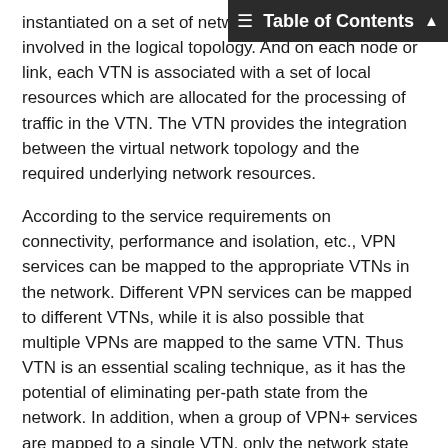instantiated on a set of network nodes and links involved in the logical topology. And on each node or link, each VTN is associated with a set of local resources which are allocated for the processing of traffic in the VTN. The VTN provides the integration between the virtual network topology and the required underlying network resources.
According to the service requirements on connectivity, performance and isolation, etc., VPN services can be mapped to the appropriate VTNs in the network. Different VPN services can be mapped to different VTNs, while it is also possible that multiple VPNs are mapped to the same VTN. Thus VTN is an essential scaling technique, as it has the potential of eliminating per-path state from the network. In addition, when a group of VPN+ services are mapped to a single VTN, only the network state of the single VTN needs to be maintained in the network (see Section 4.4 for more information).
The centralized network controller is responsible for creating a VTN, instructing the involved network nodes to allocate